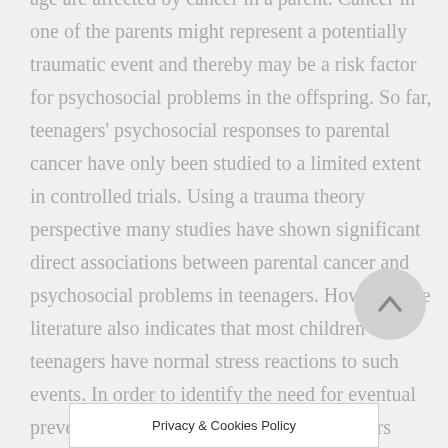age are affected by cancer in a parent. Cancer in one of the parents might represent a potentially traumatic event and thereby may be a risk factor for psychosocial problems in the offspring. So far, teenagers' psychosocial responses to parental cancer have only been studied to a limited extent in controlled trials. Using a trauma theory perspective many studies have shown significant direct associations between parental cancer and psychosocial problems in teenagers. However, the literature also indicates that most children and teenagers have normal stress reactions to such events. In order to identify the need for eventual prevention and intervention among teenagers exposed to such a stressor, w knowledge of th
Privacy & Cookies Policy